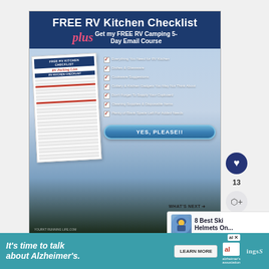[Figure (screenshot): Promotional image for FREE RV Kitchen Checklist plus FREE RV Camping 5-Day Email Course. Shows a checklist document with mountain/lake background and a 'YES, PLEASE!!' button.]
13
[Figure (screenshot): What's Next thumbnail showing 8 Best Ski Helmets On... with a person wearing a ski helmet]
FREE RV Kitchen Packing List!
[Figure (screenshot): Advertisement banner: It's time to talk about Alzheimer's. LEARN MORE. Alzheimer's association logo. ingsS... logo.]